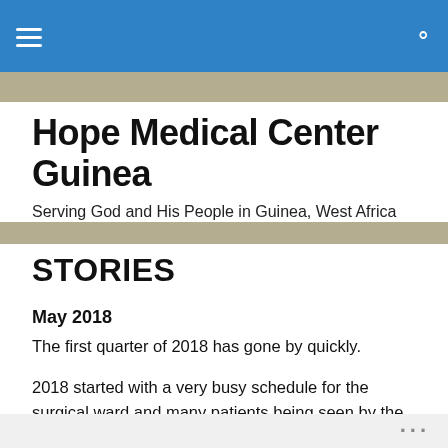Hope Medical Center Guinea — navigation bar
Hope Medical Center Guinea
Serving God and His People in Guinea, West Africa
STORIES
May 2018
The first quarter of 2018 has gone by quickly.
2018 started with a very busy schedule for the surgical ward and many patients being seen by the outpatient department. During the first four months we have seen